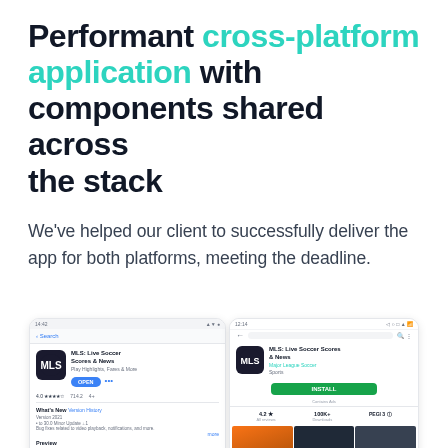Performant cross-platform application with components shared across the stack
We've helped our client to successfully deliver the app for both platforms, meeting the deadline.
[Figure (screenshot): Two mobile phone screenshots side by side showing the MLS: Live Soccer Scores & News app listing on the Apple App Store (left) and Google Play Store (right)]